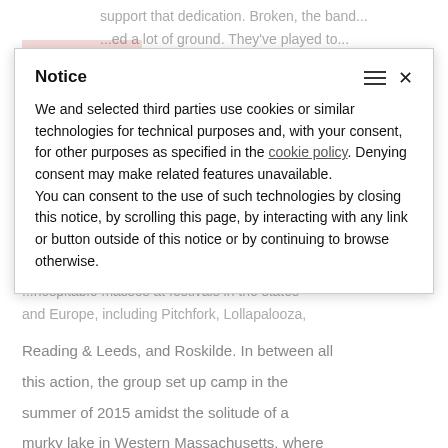support that dedication. Broken, the band...
...ed a lot of ground. They've played to...
...were anointed 'Best New Band'... and...
...hospitable masses at festivals in the states...
and Europe, including Pitchfork, Lollapalooza,
Notice
We and selected third parties use cookies or similar technologies for technical purposes and, with your consent, for other purposes as specified in the cookie policy. Denying consent may make related features unavailable.
You can consent to the use of such technologies by closing this notice, by scrolling this page, by interacting with any link or button outside of this notice or by continuing to browse otherwise.
Reading & Leeds, and Roskilde. In between all this action, the group set up camp in the summer of 2015 amidst the solitude of a murky lake in Western Massachusetts, where they could experiment and record on their own terms in the warm living room of a good friend's house. Recording on reel-to-reel with the band learning studio tricks on the fly, Twin